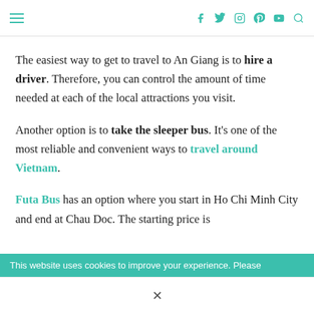≡  [social icons: facebook, twitter, instagram, pinterest, youtube, search]
The easiest way to get to travel to An Giang is to hire a driver. Therefore, you can control the amount of time needed at each of the local attractions you visit.
Another option is to take the sleeper bus. It's one of the most reliable and convenient ways to travel around Vietnam.
Futa Bus has an option where you start in Ho Chi Minh City and end at Chau Doc. The starting price is
This website uses cookies to improve your experience. Please